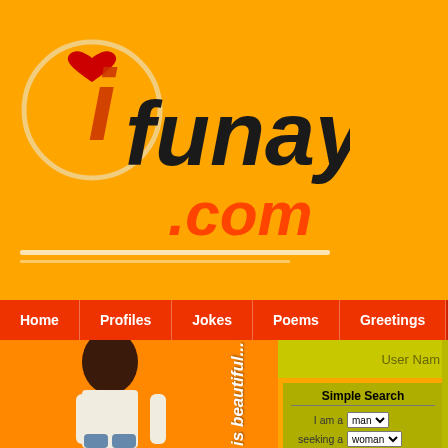[Figure (logo): Ifunaya.com logo with orange circle, stylized 'i' with heart, bold italic text 'Ifunaya' and '.com' in orange/red on yellow-orange background]
Home | Profiles | Jokes | Poems | Greetings | Messa...
[Figure (photo): Young African woman smiling, wearing white crop top and large jeans, standing against orange background]
is beautiful...
User Nam
Simple Search
I am a man seeking a woman with age All ethnicity All only with photos
Go